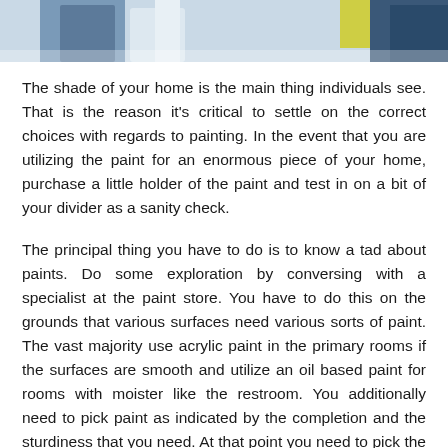[Figure (photo): Partial photo strip at top of page showing people, one in denim jacket on right side and partial figure on left, with yellow/green background element in upper right area]
The shade of your home is the main thing individuals see. That is the reason it's critical to settle on the correct choices with regards to painting. In the event that you are utilizing the paint for an enormous piece of your home, purchase a little holder of the paint and test in on a bit of your divider as a sanity check.
The principal thing you have to do is to know a tad about paints. Do some exploration by conversing with a specialist at the paint store. You have to do this on the grounds that various surfaces need various sorts of paint. The vast majority use acrylic paint in the primary rooms if the surfaces are smooth and utilize an oil based paint for rooms with moister like the restroom. You additionally need to pick paint as indicated by the completion and the sturdiness that you need. At that point you need to pick the hues. Mull over the furniture that you have at home. The hues should look great with all that you have.